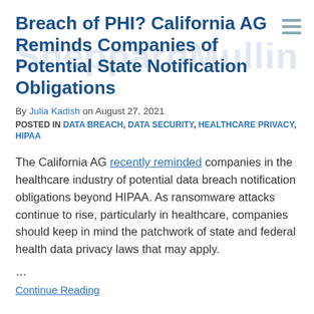Breach of PHI? California AG Reminds Companies of Potential State Notification Obligations
By Julia Kadish on August 27, 2021
POSTED IN DATA BREACH, DATA SECURITY, HEALTHCARE PRIVACY, HIPAA
The California AG recently reminded companies in the healthcare industry of potential data breach notification obligations beyond HIPAA. As ransomware attacks continue to rise, particularly in healthcare, companies should keep in mind the patchwork of state and federal health data privacy laws that may apply.
…
Continue Reading